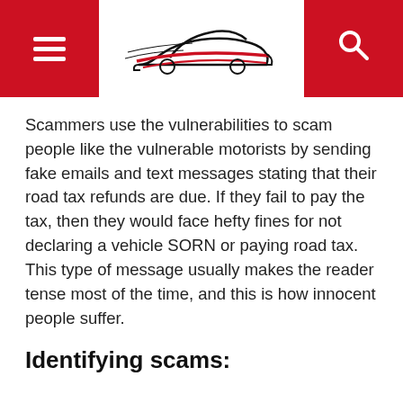[Figure (logo): Website header with red side panels containing hamburger menu icon and search icon, and a car logo in the center on white background]
Scammers use the vulnerabilities to scam people like the vulnerable motorists by sending fake emails and text messages stating that their road tax refunds are due. If they fail to pay the tax, then they would face hefty fines for not declaring a vehicle SORN or paying road tax. This type of message usually makes the reader tense most of the time, and this is how innocent people suffer.
Identifying scams: